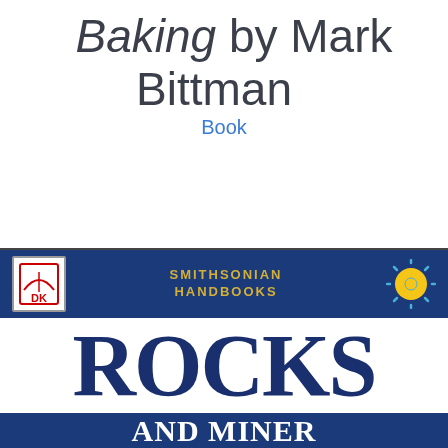Baking by Mark Bittman
Book
[Figure (photo): Book cover of Smithsonian Handbooks: Rocks and Minerals published by DK, featuring the DK logo, Smithsonian Handbooks text in gold on a dark blue background, a sun logo, large white area with 'ROCKS' in large dark blue serif font, and 'AND MINERALS' text at the bottom on blue background.]